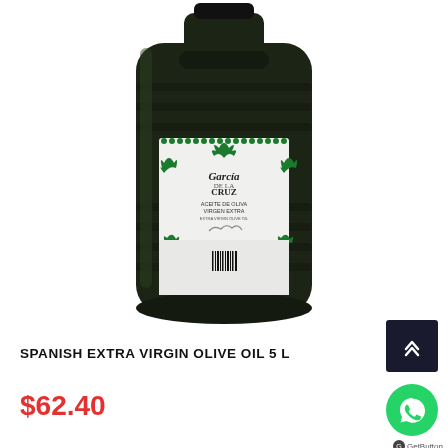[Figure (photo): A large dark olive-colored plastic 5-liter bottle of Garcia de la Cruz extra virgin olive oil, with a white and green decorative label featuring the brand name and ornate green floral/leaf pattern. The bottle has ribbed sides and a handle at the top.]
SPANISH EXTRA VIRGIN OLIVE OIL 5 L
$62.40